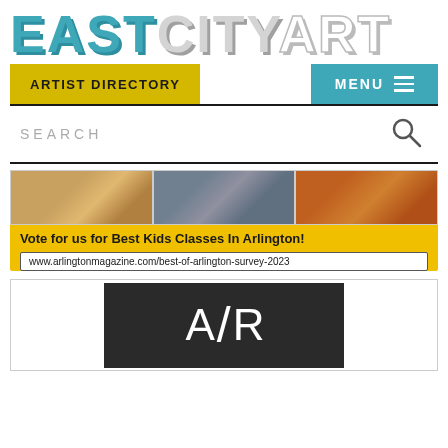EASTCITYART
ARTIST DIRECTORY
MENU
SEARCH
[Figure (infographic): Ad banner for kids art classes with photos and text: Vote for us for Best Kids Classes In Arlington! www.arlingtonmagazine.com/best-of-arlington-survey-2023]
[Figure (logo): A/R logo in white on dark background]